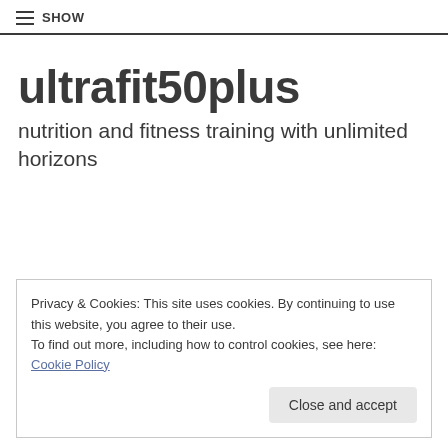≡ SHOW
ultrafit50plus
nutrition and fitness training with unlimited horizons
Privacy & Cookies: This site uses cookies. By continuing to use this website, you agree to their use.
To find out more, including how to control cookies, see here: Cookie Policy
Close and accept